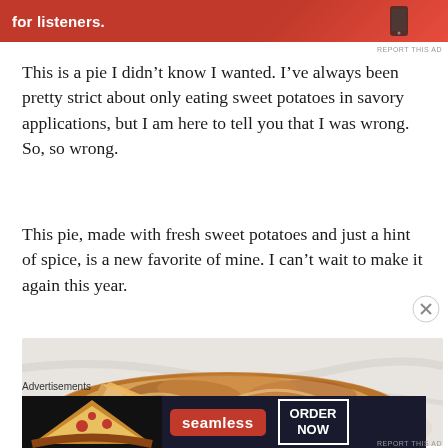[Figure (other): Red advertisement banner with white bold text 'for listeners.' and a smartphone graphic on the right]
REPORT THIS AD
This is a pie I didn’t know I wanted. I’ve always been pretty strict about only eating sweet potatoes in savory applications, but I am here to tell you that I was wrong. So, so wrong.
This pie, made with fresh sweet potatoes and just a hint of spice, is a new favorite of mine. I can’t wait to make it again this year.
[Figure (photo): Close-up photo of a golden-brown baked sweet potato pie with flaky crust on a white plate, with a slice partially removed showing the filling]
Advertisements
[Figure (other): Seamless food delivery advertisement with dark background, pizza image on left, red Seamless logo in center, and 'ORDER NOW' button on right]
REPORT THIS AD